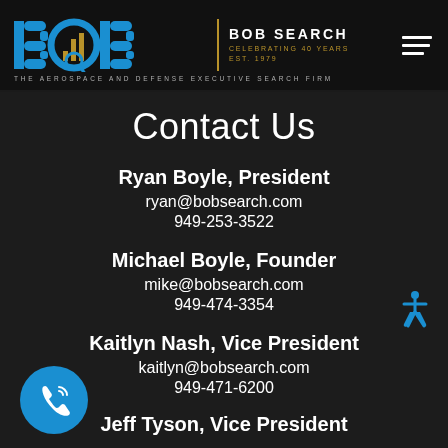[Figure (logo): BOB Search logo with blue and gold B, O, B letters and vertical bar separator followed by company name 'BOB SEARCH', 'CELEBRATING 40 YEARS', 'EST. 1979']
THE AEROSPACE AND DEFENSE EXECUTIVE SEARCH FIRM
Contact Us
Ryan Boyle, President
ryan@bobsearch.com
949-253-3522
Michael Boyle, Founder
mike@bobsearch.com
949-474-3354
Kaitlyn Nash, Vice President
kaitlyn@bobsearch.com
949-471-6200
Jeff Tyson, Vice President